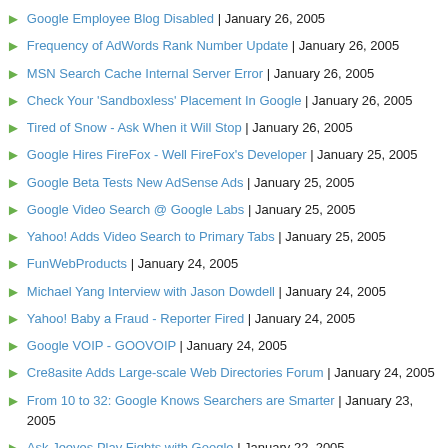Google Employee Blog Disabled | January 26, 2005
Frequency of AdWords Rank Number Update | January 26, 2005
MSN Search Cache Internal Server Error | January 26, 2005
Check Your 'Sandboxless' Placement In Google | January 26, 2005
Tired of Snow - Ask When it Will Stop | January 26, 2005
Google Hires FireFox - Well FireFox's Developer | January 25, 2005
Google Beta Tests New AdSense Ads | January 25, 2005
Google Video Search @ Google Labs | January 25, 2005
Yahoo! Adds Video Search to Primary Tabs | January 25, 2005
FunWebProducts | January 24, 2005
Michael Yang Interview with Jason Dowdell | January 24, 2005
Yahoo! Baby a Fraud - Reporter Fired | January 24, 2005
Google VOIP - GOOVOIP | January 24, 2005
Cre8asite Adds Large-scale Web Directories Forum | January 24, 2005
From 10 to 32: Google Knows Searchers are Smarter | January 23, 2005
Ask Jeeves Play Fights with Google | January 22, 2005
Ambient Orb & Keyword Ranking | January 21, 2005
AdWords API to be Released to AdWords Advertisers | January 21, 2005
Web Analysis Tools & Consistancy | January 21, 2005